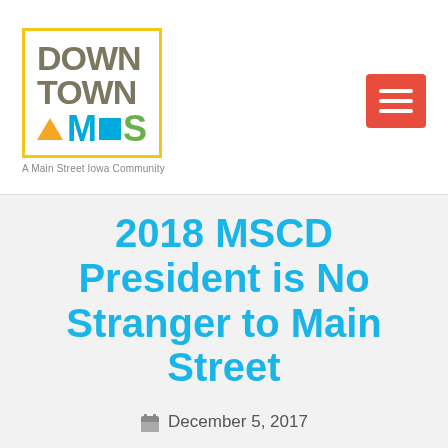[Figure (logo): Downtown Ames logo with yellow border box, colorful AMES text with triangle, M, blue square, and green S letters. Tagline: A Main Street Iowa Community.]
2018 MSCD President is No Stranger to Main Street
December 5, 2017